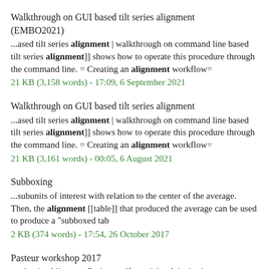Walkthrough on GUI based tilt series alignment (EMBO2021)
...ased tilt series alignment | walkthrough on command line based tilt series alignment]] shows how to operate this procedure through the command line. = Creating an alignment workflow=
21 KB (3,158 words) - 17:09, 6 September 2021
Walkthrough on GUI based tilt series alignment
...ased tilt series alignment | walkthrough on command line based tilt series alignment]] shows how to operate this procedure through the command line. = Creating an alignment workflow=
21 KB (3,161 words) - 00:05, 6 August 2021
Subboxing
...subunits of interest with relation to the center of the average. Then, the alignment [[table]] that produced the average can be used to produce a "subboxed tab
2 KB (374 words) - 17:54, 26 October 2017
Pasteur workshop 2017
...oductionAlignmentProjects.pdf tutorial on] the basic